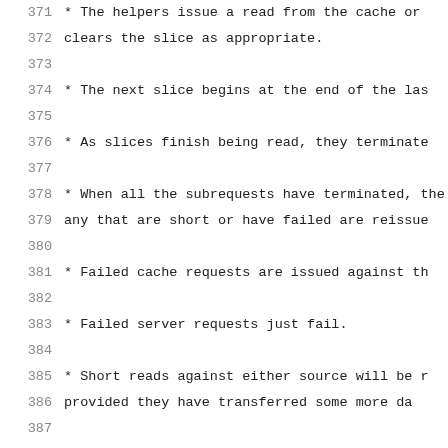371     * The helpers issue a read from the cache or
372       clears the slice as appropriate.
373
374     * The next slice begins at the end of the las
375
376     * As slices finish being read, they terminate
377
378   * When all the subrequests have terminated, the
379     any that are short or have failed are reissue
380
381     * Failed cache requests are issued against th
382
383     * Failed server requests just fail.
384
385     * Short reads against either source will be r
386       provided they have transferred some more da
387
388       * The cache may need to skip holes that it
389
390       * If NETFS_SREQ_CLEAR_TAIL was set, a shor
391         end of the slice instead of reissuing.